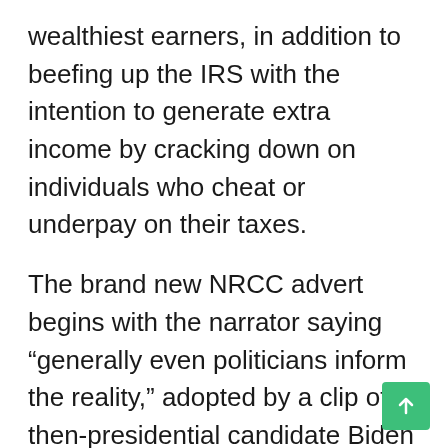wealthiest earners, in addition to beefing up the IRS with the intention to generate extra income by cracking down on individuals who cheat or underpay on their taxes.
The brand new NRCC advert begins with the narrator saying “generally even politicians inform the reality,” adopted by a clip of then-presidential candidate Biden saying “guess what, Should you elect me… your taxes are gonna be raised, not minimize.”
The clip comes from a Biden rally in South